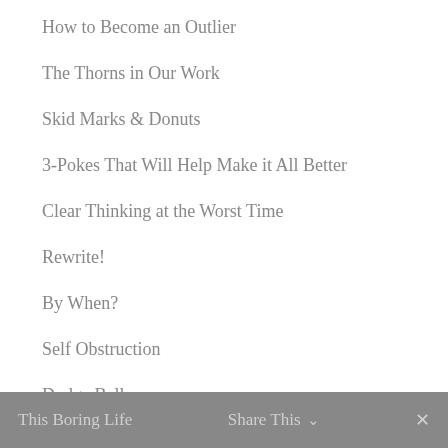How to Become an Outlier
The Thorns in Our Work
Skid Marks & Donuts
3-Pokes That Will Help Make it All Better
Clear Thinking at the Worst Time
Rewrite!
By When?
Self Obstruction
Dodge Ball
New Beginnings
The Hill We Climb
This Boring Life   Share This ∨   ✕